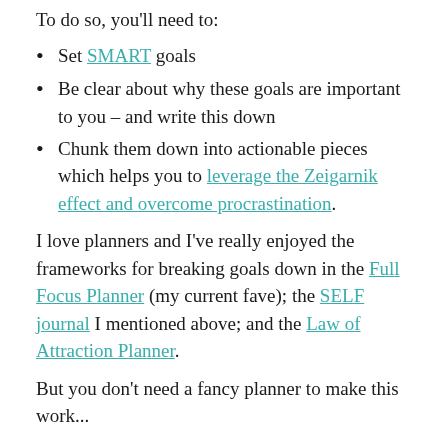To do so, you'll need to:
Set SMART goals
Be clear about why these goals are important to you – and write this down
Chunk them down into actionable pieces which helps you to leverage the Zeigarnik effect and overcome procrastination.
I love planners and I've really enjoyed the frameworks for breaking goals down in the Full Focus Planner (my current fave); the SELF journal I mentioned above; and the Law of Attraction Planner.
But you don't need a fancy planner to make this work...